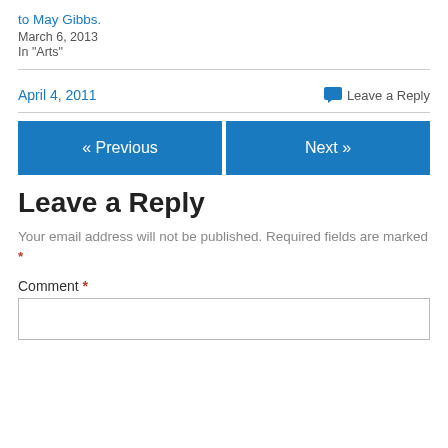to May Gibbs.
March 6, 2013
In "Arts"
April 4, 2011
Leave a Reply
« Previous
Next »
Leave a Reply
Your email address will not be published. Required fields are marked *
Comment *